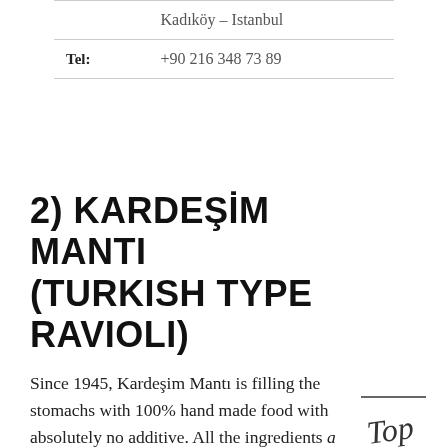|  | Kadıköy – Istanbul |
| Tel: | +90 216 348 73 89 |
2) KARDEŞİM MANTI (TURKISH TYPE RAVIOLI)
Since 1945, Kardeşim Mantı is filling the stomachs with 100% hand made food with absolutely no additive. All the ingredients a 1st quality and generally brougl from Bolu and its surrounding regions. This place feels like
[Figure (illustration): Handwritten 'Top' signature with a line above it]